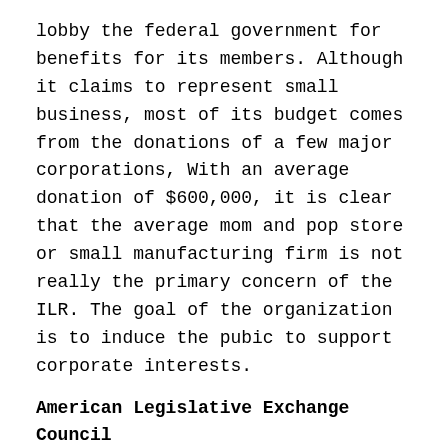lobby the federal government for benefits for its members. Although it claims to represent small business, most of its budget comes from the donations of a few major corporations, With an average donation of $600,000, it is clear that the average mom and pop store or small manufacturing firm is not really the primary concern of the ILR. The goal of the organization is to induce the pubic to support corporate interests.
American Legislative Exchange Council
This organization works to change state laws. It writes model legislation, such as tort reform legislation, and lobbies state legislators, often with expensive trips and other perks. Like the other tort reform advocates, it is a secretive organization and prefers to let its targets – the members of state legislatures – do the talking. However in recent years